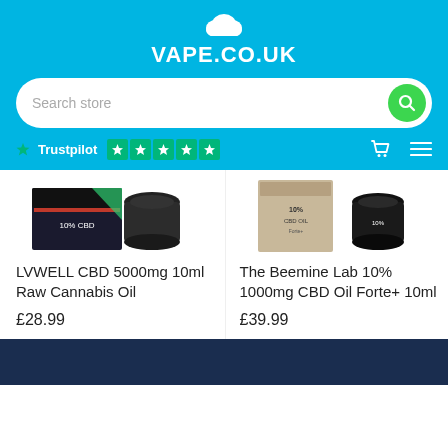[Figure (logo): VAPE.CO.UK logo with cloud icon on blue background]
[Figure (screenshot): Search bar with 'Search store' placeholder and green search button]
[Figure (screenshot): Trustpilot 5-star rating, cart icon, and hamburger menu on blue bar]
[Figure (photo): LVWELL CBD 5000mg 10ml Raw Cannabis Oil product image]
LVWELL CBD 5000mg 10ml Raw Cannabis Oil
£28.99
[Figure (photo): The Beemine Lab 10% 1000mg CBD Oil Forte+ 10ml product image]
The Beemine Lab 10% 1000mg CBD Oil Forte+ 10ml
£39.99